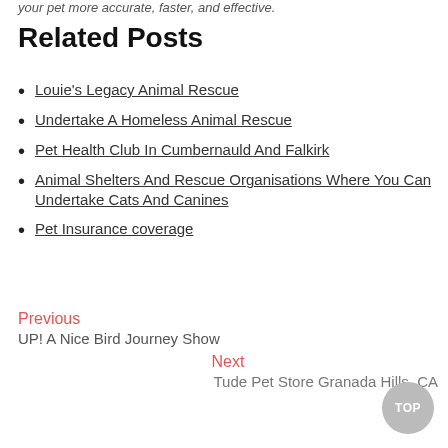your pet more accurate, faster, and effective.
Related Posts
Louie's Legacy Animal Rescue
Undertake A Homeless Animal Rescue
Pet Health Club In Cumbernauld And Falkirk
Animal Shelters And Rescue Organisations Where You Can Undertake Cats And Canines
Pet Insurance coverage
Previous
UP! A Nice Bird Journey Show
Next
Tude Pet Store Granada Hills, CA